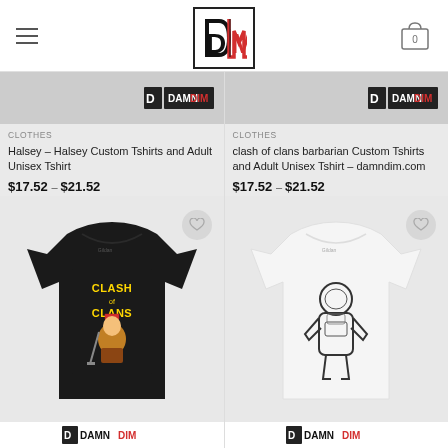[Figure (screenshot): E-commerce website header with hamburger menu, DamnDim logo, and cart icon showing 0 items]
[Figure (photo): Partial product image - Halsey custom tshirt banner, cut off at top]
CLOTHES
Halsey – Halsey Custom Tshirts and Adult Unisex Tshirt
$17.52 – $21.52
[Figure (photo): Partial product image - clash of clans barbarian custom tshirt banner, cut off at top]
CLOTHES
clash of clans barbarian Custom Tshirts and Adult Unisex Tshirt – damndim.com
$17.52 – $21.52
[Figure (photo): Black t-shirt with Clash of Clans barbarian king character graphic on a light gray background, with DamnDim logo banner at bottom]
[Figure (photo): White t-shirt with astronaut graphic on a light gray background, with DamnDim logo banner at bottom]